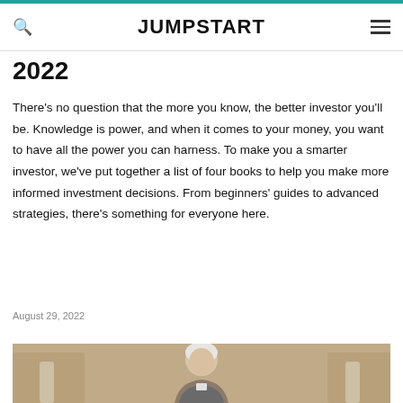JUMPSTART
2022
There's no question that the more you know, the better investor you'll be. Knowledge is power, and when it comes to your money, you want to have all the power you can harness. To make you a smarter investor, we've put together a list of four books to help you make more informed investment decisions. From beginners' guides to advanced strategies, there's something for everyone here.
August 29, 2022
[Figure (photo): Elderly person photographed, likely related to investing book content]